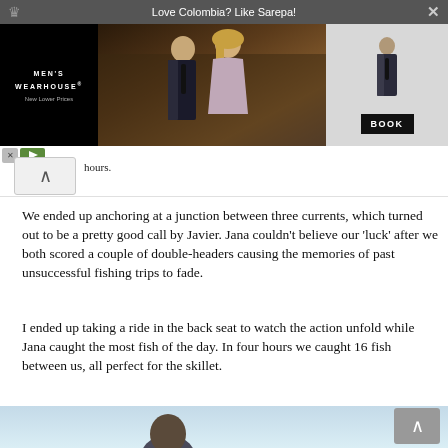[Figure (screenshot): Notification bar with crown icon, text 'Love Colombia? Like Sarepa!' and close X button on dark grey background]
[Figure (photo): Men's Wearhouse advertisement banner showing a couple in formal wear and a man in a suit, with BOOK button]
[Figure (screenshot): Ad toolbar with X and play button icons]
[Figure (screenshot): Scroll up arrow button (top)]
hours.
We ended up anchoring at a junction between three currents, which turned out to be a pretty good call by Javier. Jana couldn’t believe our ‘luck’ after we both scored a couple of double-headers causing the memories of past unsuccessful fishing trips to fade.
I ended up taking a ride in the back seat to watch the action unfold while Jana caught the most fish of the day. In four hours we caught 16 fish between us, all perfect for the skillet.
[Figure (photo): Bottom partial photo showing a person against a light blue background]
[Figure (screenshot): Scroll up arrow button (bottom right, grey)]